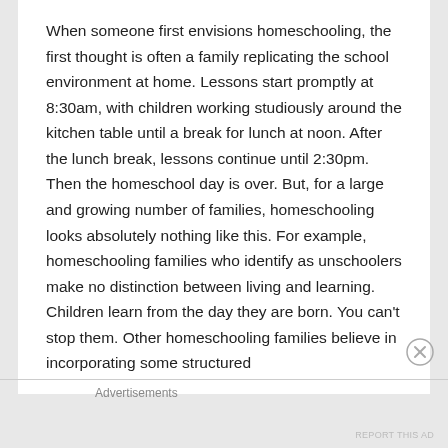When someone first envisions homeschooling, the first thought is often a family replicating the school environment at home. Lessons start promptly at 8:30am, with children working studiously around the kitchen table until a break for lunch at noon. After the lunch break, lessons continue until 2:30pm. Then the homeschool day is over. But, for a large and growing number of families, homeschooling looks absolutely nothing like this. For example, homeschooling families who identify as unschoolers make no distinction between living and learning. Children learn from the day they are born. You can't stop them. Other homeschooling families believe in incorporating some structured
Advertisements